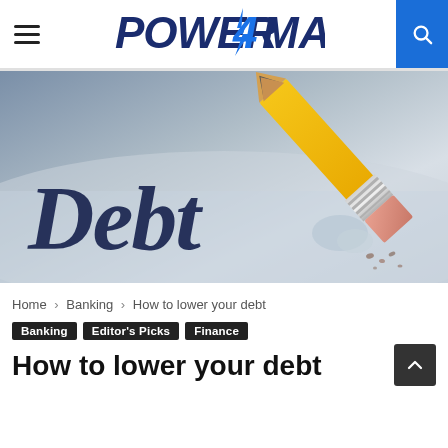POWER4MAG
[Figure (photo): A pencil eraser erasing the word 'Debt' written in dark blue bold letters on a light surface, with eraser shavings scattered around.]
Home > Banking > How to lower your debt
Banking  Editor's Picks  Finance
How to lower your debt